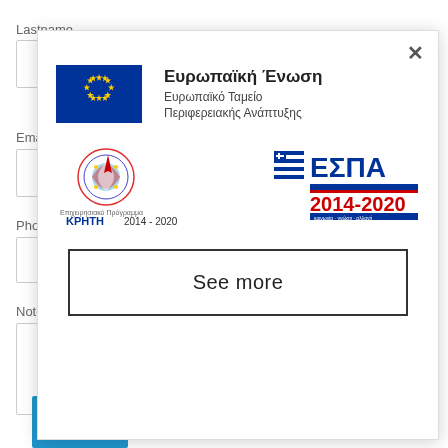Lastname
Email
Phone
Notes:
[Figure (screenshot): Modal dialog with EU funding logos: European Union / European Regional Development Fund logo, ΚΡΗΤΗ 2014-2020 Operational Programme logo, and ΕΣΠΑ 2014-2020 logo, with a 'See more' button and close X button]
Booking Request